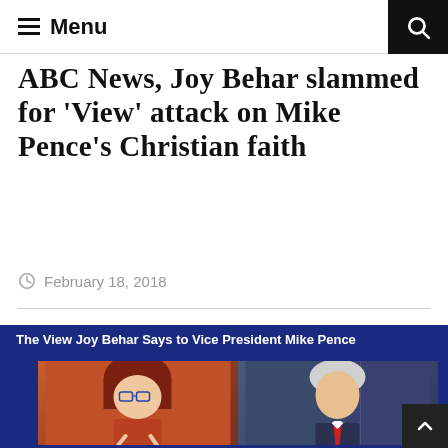≡ Menu
ABC News, Joy Behar slammed for 'View' attack on Mike Pence's Christian faith
February 18, 2018
[Figure (photo): TV screenshot/composite: Joy Behar on The View (left) and Vice President Mike Pence (right) with caption 'The View Joy Behar Says to Vice President Mike Pence']